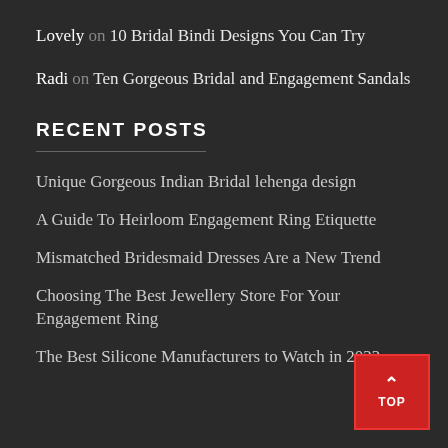Lovely on 10 Bridal Bindi Designs You Can Try
Radi on Ten Gorgeous Bridal and Engagement Sandals
RECENT POSTS
Unique Gorgeous Indian Bridal lehenga design
A Guide To Heirloom Engagement Ring Etiquette
Mismatched Bridesmaid Dresses Are a New Trend
Choosing The Best Jewellery Store For Your Engagement Ring
The Best Silicone Manufacturers to Watch in 2022